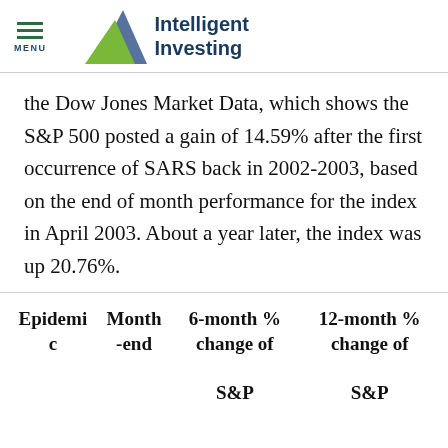MENU | Intelligent Investing
the Dow Jones Market Data, which shows the S&P 500 posted a gain of 14.59% after the first occurrence of SARS back in 2002-2003, based on the end of month performance for the index in April 2003. About a year later, the index was up 20.76%.
| Epidemic | Month-end | 6-month % change of S&P | 12-month % change of S&P |
| --- | --- | --- | --- |